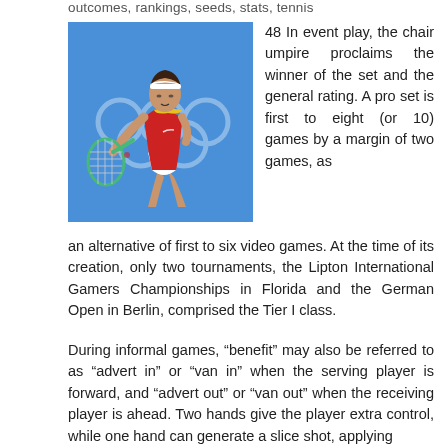outcomes, rankings, seeds, stats, tennis
[Figure (photo): Female tennis player in red and white outfit serving at a tournament with Olympic rings in the background]
48 In event play, the chair umpire proclaims the winner of the set and the general rating. A pro set is first to eight (or 10) games by a margin of two games, as an alternative of first to six video games. At the time of its creation, only two tournaments, the Lipton International Gamers Championships in Florida and the German Open in Berlin, comprised the Tier I class.
During informal games, “benefit” may also be referred to as “advert in” or “van in” when the serving player is forward, and “advert out” or “van out” when the receiving player is ahead. Two hands give the player extra control, while one hand can generate a slice shot, applying